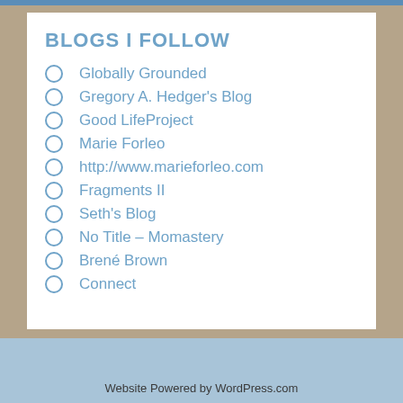BLOGS I FOLLOW
Globally Grounded
Gregory A. Hedger's Blog
Good LifeProject
Marie Forleo
http://www.marieforleo.com
Fragments II
Seth's Blog
No Title – Momastery
Brené Brown
Connect
Website Powered by WordPress.com